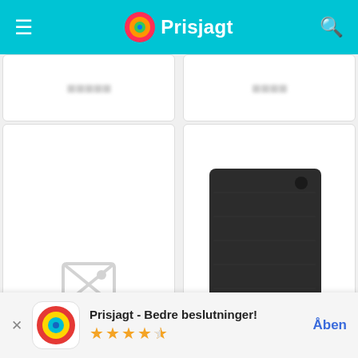Prisjagt
[Figure (screenshot): Two product grid cells top row showing blurred price information]
[Figure (photo): Product image placeholder (no image icon)]
[Figure (photo): Apple Smart Folio case for iPad Pro 2nd generation - black folding case product photo]
Vi bruger cookies og behandler persondata til at levere tjenester til dig, videreudvikle vores tjenester, gøre indholdet mere personligt og give dig relevant markedsføring via Facebook og Google. Vi er en del af Schibsted. Schibsted og deres annoncepartnere er ansvarlige for leveringen og personaliseringen af annoncer på Prisjagt og andre Schibsted-sites.
[Figure (logo): Schibsted logo]
[Figure (logo): Prisjagt app icon - colorful target/bullseye icon]
Prisjagt - Bedre beslutninger!
★★★★☆ (4.5 stars)
Åben